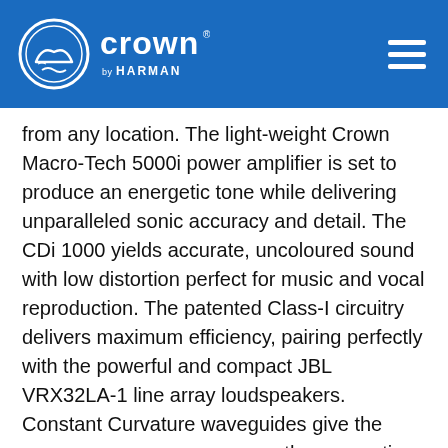Crown by Harman
from any location. The light-weight Crown Macro-Tech 5000i power amplifier is set to produce an energetic tone while delivering unparalleled sonic accuracy and detail. The CDi 1000 yields accurate, uncoloured sound with low distortion perfect for music and vocal reproduction. The patented Class-I circuitry delivers maximum efficiency, pairing perfectly with the powerful and compact JBL VRX32LA-1 line array loudspeakers. Constant Curvature waveguides give the arrays even coverage across the convention hall.
An array of other JBL loudspeakers were also installed, including JBL PRX812W 12" two-way bass reflex speakers. Powered by a 1500-watt Class-D amplifier, they deliver incredible volume and flexibility as stage monitors and fill speakers. Light-weight, full-range JBL